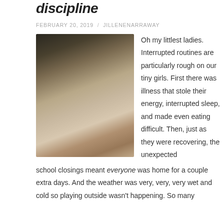discipline
FEBRUARY 20, 2019  /  JILLENENARRAWAY
[Figure (photo): Close-up photo of a sleeping toddler girl resting her face against a white stuffed animal, eyes closed, with soft lighting]
Oh my littlest ladies. Interrupted routines are particularly rough on our tiny girls. First there was illness that stole their energy, interrupted sleep, and made even eating difficult. Then, just as they were recovering, the unexpected school closings meant everyone was home for a couple extra days. And the weather was very, very, very wet and cold so playing outside wasn't happening. So many